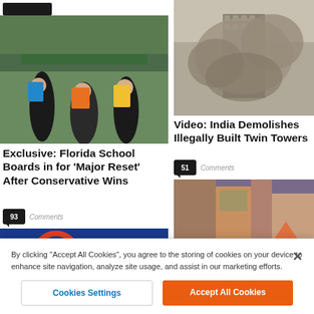[Figure (photo): Dark rectangular logo/icon bar at top left]
[Figure (photo): Children running with backpacks toward a school building]
Exclusive: Florida School Boards in for ‘Major Reset’ After Conservative Wins
93 Comments
[Figure (photo): Building being demolished with large dust cloud]
Video: India Demolishes Illegally Built Twin Towers
51 Comments
[Figure (photo): Street scene with tents and graffiti]
[Figure (photo): Blue circular graphic with orange/red elements]
By clicking “Accept All Cookies”, you agree to the storing of cookies on your device to enhance site navigation, analyze site usage, and assist in our marketing efforts.
Cookies Settings
Accept All Cookies